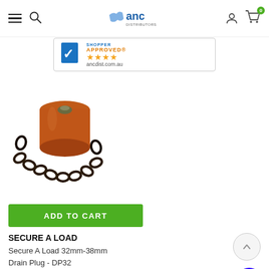ANC Distributors navigation bar with hamburger menu, search, logo, user icon, cart (0)
[Figure (logo): Shopper Approved banner with checkmark, 4 orange stars, and ancdist.com.au]
[Figure (photo): A brown/terracotta cylindrical drain plug with a black chain attached to it, photographed on white background]
ADD TO CART
SECURE A LOAD
Secure A Load 32mm-38mm Drain Plug - DP32
$7.00